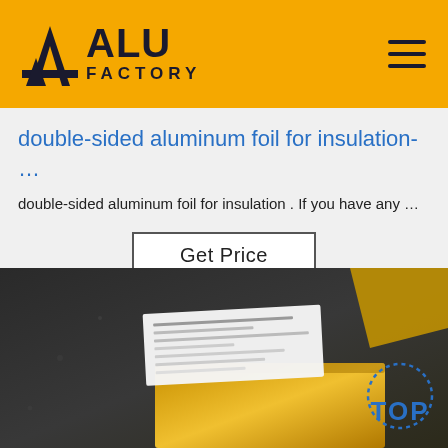[Figure (logo): ALU FACTORY logo on yellow/amber header bar with hamburger menu icon on the right]
double-sided aluminum foil for insulation- …
double-sided aluminum foil for insulation . If you have any …
Get Price
[Figure (photo): Dark floor/surface with a yellow padded envelope package and a white shipping label on top, with a blue 'TOP' navigation button overlay in the bottom right corner]